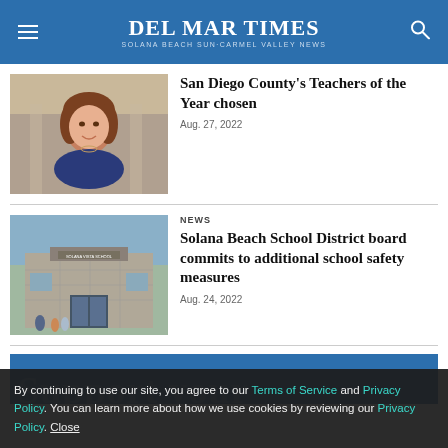Del Mar Times — Solana Beach Sun·Carmel Valley News
San Diego County's Teachers of the Year chosen
Aug. 27, 2022
NEWS
Solana Beach School District board commits to additional school safety measures
Aug. 24, 2022
By continuing to use our site, you agree to our Terms of Service and Privacy Policy. You can learn more about how we use cookies by reviewing our Privacy Policy. Close